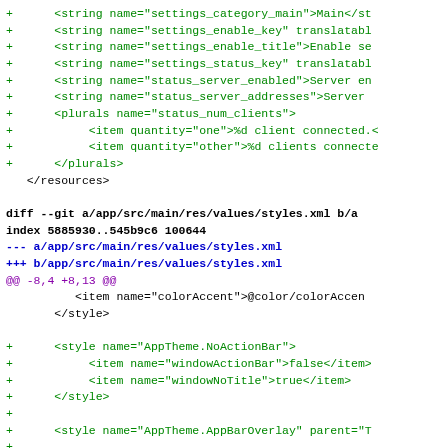diff block showing strings.xml additions and styles.xml diff